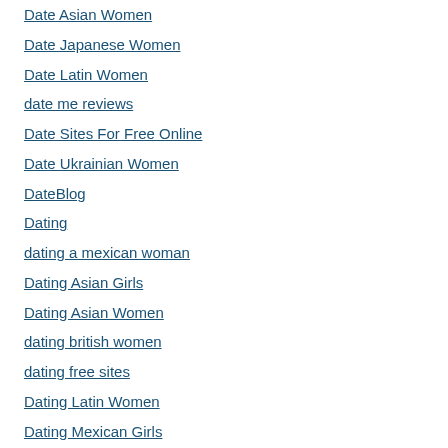Date Asian Women
Date Japanese Women
Date Latin Women
date me reviews
Date Sites For Free Online
Date Ukrainian Women
DateBlog
Dating
dating a mexican woman
Dating Asian Girls
Dating Asian Women
dating british women
dating free sites
Dating Latin Women
Dating Mexican Girls
dating russian women
dating sites
dating sites for older people